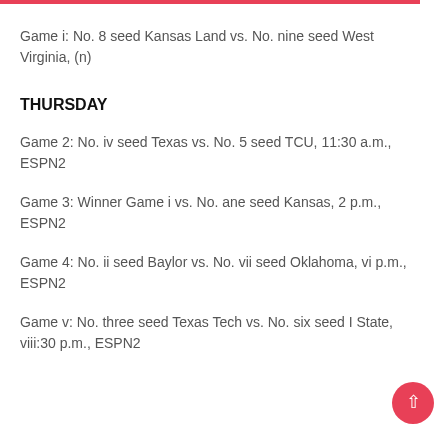Game i: No. 8 seed Kansas Land vs. No. nine seed West Virginia, (n)
THURSDAY
Game 2: No. iv seed Texas vs. No. 5 seed TCU, 11:30 a.m., ESPN2
Game 3: Winner Game i vs. No. ane seed Kansas, 2 p.m., ESPN2
Game 4: No. ii seed Baylor vs. No. vii seed Oklahoma, vi p.m., ESPN2
Game v: No. three seed Texas Tech vs. No. six seed I State, viii:30 p.m., ESPN2